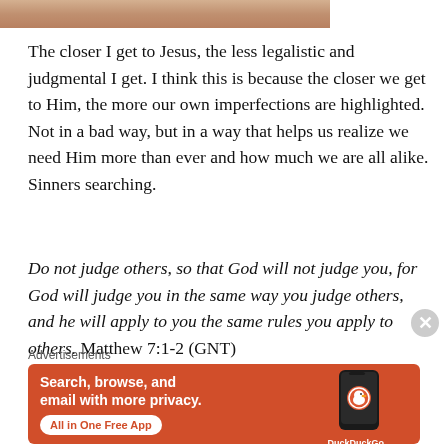[Figure (photo): Partial photo strip showing skin/face at the top of the page]
The closer I get to Jesus, the less legalistic and judgmental I get. I think this is because the closer we get to Him, the more our own imperfections are highlighted. Not in a bad way, but in a way that helps us realize we need Him more than ever and how much we are all alike. Sinners searching.
Do not judge others, so that God will not judge you, for God will judge you in the same way you judge others, and he will apply to you the same rules you apply to others. Matthew 7:1-2 (GNT)
Advertisements
[Figure (screenshot): DuckDuckGo advertisement banner with orange background reading 'Search, browse, and email with more privacy. All in One Free App' with a phone graphic and DuckDuckGo logo]